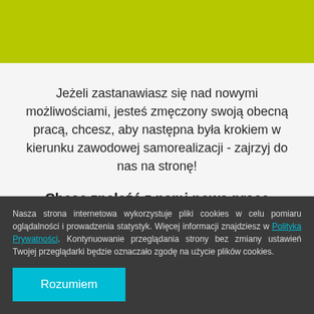[Figure (other): Yellow-green decorative header bar]
Jeżeli zastanawiasz się nad nowymi możliwościami, jesteś zmęczony swoją obecną pracą, chcesz, aby następna była krokiem w kierunku zawodowej samorealizacji - zajrzyj do nas na stronę!
Chcąc znaleźć z nami nową pracę przygotuj się na następujące etapy:
Nasza strona internetowa wykorzystuje pliki cookies w celu pomiaru oglądalności i prowadzenia statystyk. Więcej informacji znajdziesz w Polityka Prywatności. Kontynuowanie przeglądania strony bez zmiany ustawień Twojej przeglądarki będzie oznaczało zgodę na użycie plików cookies.
Rozumiem